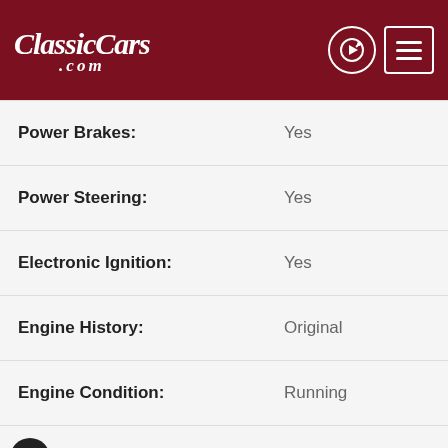ClassicCars.com
| Property | Value |
| --- | --- |
| Power Brakes: | Yes |
| Power Steering: | Yes |
| Electronic Ignition: | Yes |
| Engine History: | Original |
| Engine Condition: | Running |
| Drive Train: | Rear-wheel drive |